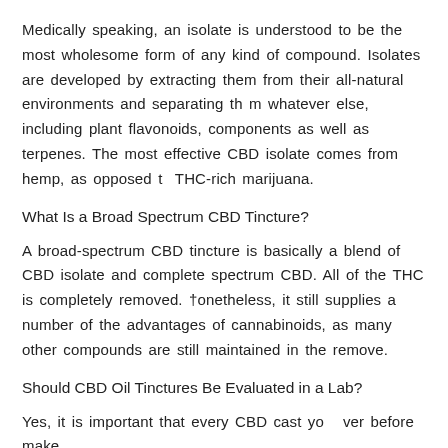Medically speaking, an isolate is understood to be the most wholesome form of any kind of compound. Isolates are developed by extracting them from their all-natural environments and separating th m whatever else, including plant flavonoids, components as well as terpenes. The most effective CBD isolate comes from hemp, as opposed t  THC-rich marijuana.
What Is a Broad Spectrum CBD Tincture?
A broad-spectrum CBD tincture is basically a blend of CBD isolate and complete spectrum CBD. All of the THC is completely removed. onetheless, it still supplies a number of the advantages of cannabinoids, as many other compounds are still maintained in the remove.
Should CBD Oil Tinctures Be Evaluated in a Lab?
Yes, it is important that every CBD cast yo   ver before make